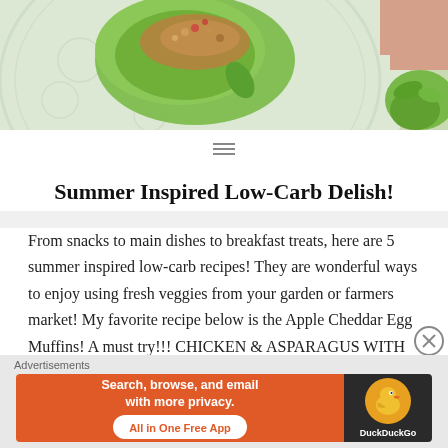[Figure (photo): Food photo showing a lettuce wrap with filling on a decorative plate, right side shows a hand and green herbs]
Summer Inspired Low-Carb Delish!
From snacks to main dishes to breakfast treats, here are 5 summer inspired low-carb recipes! They are wonderful ways to enjoy using fresh veggies from your garden or farmers market! My favorite recipe below is the Apple Cheddar Egg Muffins! A must try!!! CHICKEN & ASPARAGUS WITH PAN SAUCE (10g Net Carbs) THE PAN SAUCE
[Figure (screenshot): DuckDuckGo advertisement banner: Search, browse, and email with more privacy. All in One Free App]